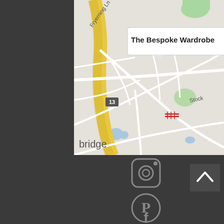[Figure (map): Google Maps screenshot showing 'The Bespoke Wardrobe' location popup. Map shows roads, a yellow road (highway), green areas, blue water features, a railway symbol, road labeled 'Fryerning Ln', 'Stocke' text visible, 'bridge' text at bottom left, route marker '13'. Dark background frame around the map.]
[Figure (other): Social media icons on dark background: Instagram icon (rounded square with camera), Pinterest icon (circular P logo), Facebook icon (partial, f logo). A back-to-top button (chevron up in dark square) on right side.]